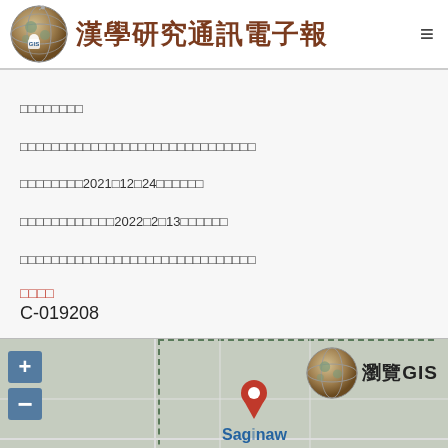漢學研究通訊電子報
□□□□□□□□
□□□□□□□□□□□□□□□□□□□□□□□□□□□□□□
□□□□□□□□2021□12□24□□□□□□
□□□□□□□□□□□□2022□2□13□□□□□□
□□□□□□□□□□□□□□□□□□□□□□□□□□□□□□
□□□□
C-019208
[Figure (map): Map showing location pin at Saginaw Valley State University with zoom controls and GIS overlay globe icon]